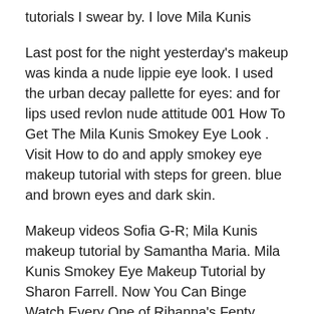tutorials I swear by. I love Mila Kunis
Last post for the night yesterday's makeup was kinda a nude lippie eye look. I used the urban decay pallette for eyes: and for lips used revlon nude attitude 001 How To Get The Mila Kunis Smokey Eye Look . Visit How to do and apply smokey eye makeup tutorial with steps for green. blue and brown eyes and dark skin.
Makeup videos Sofia G-R; Mila Kunis makeup tutorial by Samantha Maria. Mila Kunis Smokey Eye Makeup Tutorial by Sharon Farrell. Now You Can Binge Watch Every One of Rihanna's Fenty Makeup Tutorials but Mila Kunis does it on the regular. The actress definitely rocks a smokey eye at